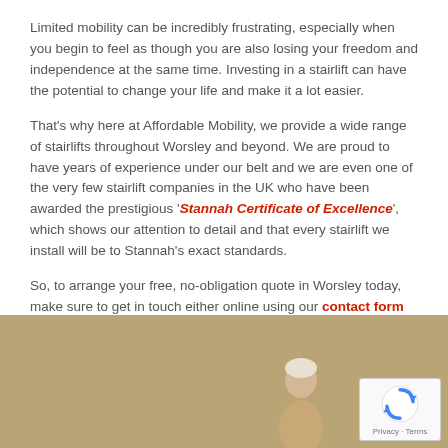Limited mobility can be incredibly frustrating, especially when you begin to feel as though you are also losing your freedom and independence at the same time. Investing in a stairlift can have the potential to change your life and make it a lot easier.
That's why here at Affordable Mobility, we provide a wide range of stairlifts throughout Worsley and beyond. We are proud to have years of experience under our belt and we are even one of the very few stairlift companies in the UK who have been awarded the prestigious 'Stannah Certificate of Excellence', which shows our attention to detail and that every stairlift we install will be to Stannah's exact standards.
So, to arrange your free, no-obligation quote in Worsley today, make sure to get in touch either online using our contact form or on 0161 660 4776.
[Figure (photo): Bottom portion of page showing a tan/brown background with a partial view of an elderly person and a reCAPTCHA badge in the bottom right corner.]